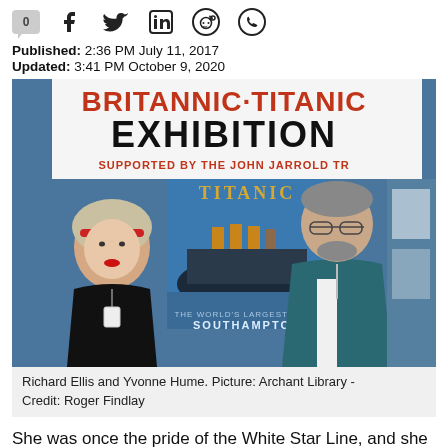[Figure (other): Social media share bar with comment count bubble (0), Facebook, Twitter, LinkedIn, Reddit, WhatsApp icons]
Published: 2:36 PM July 11, 2017
Updated: 3:41 PM October 9, 2020
[Figure (photo): Richard Ellis and Yvonne Hume standing in front of a Britannic-Titanic Exhibition banner. The banner reads 'BRITANNIC-TITANIC EXHIBITION' and 'SUPPORTED BY THE JOHN JARROLD TR' and shows a Titanic poster with text 'THE WORLD'S LARGEST LINER SOUTHAMPTON'.]
Richard Ellis and Yvonne Hume. Picture: Archant Library - Credit: Roger Findlay
She was once the pride of the White Star Line, and she met a tragic end at the bottom of the sea after a collision with an object at its peak length...